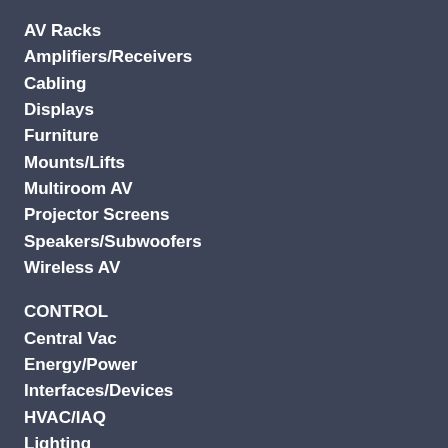AV Racks
Amplifiers/Receivers
Cabling
Displays
Furniture
Mounts/Lifts
Multiroom AV
Projector Screens
Speakers/Subwoofers
Wireless AV
CONTROL
Central Vac
Energy/Power
Interfaces/Devices
HVAC/IAQ
Lighting
Motorized Shades